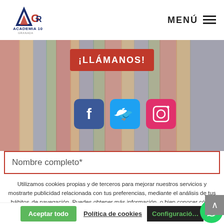[Figure (logo): AC GR Academia 10 Granada logo with geometric mountain/letter shape in red, white, blue]
MENÚ ☰
¡LLÁMANOS!
[Figure (infographic): Social media icons: Facebook (blue), Twitter (cyan), Instagram (pink/red) on blurred colored pencils background]
Nombre completo*
Utilizamos cookies propias y de terceros para mejorar nuestros servicios y mostrarte publicidad relacionada con tus preferencias, mediante el análisis de tus hábitos de navegación. Puedes obtener más información, o bien conocer cómo cambiar la configuración, en nuestra Política de Cookies. Pulsa el botón ACEPTAR para confirmar que has leído y aceptado la información presentada. Si deseas modificar la configuración de las cookies pulsa CONFIGURACIÓN. Después de aceptar, no volveremos a mostrarte este mensaje.
Aceptar todo | Política de cookies | Configuración